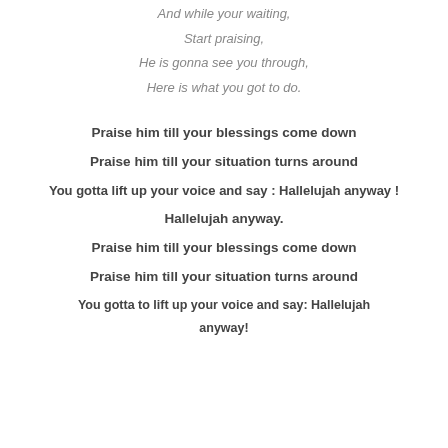And while your waiting,
Start praising,
He is gonna see you through,
Here is what you got to do.
Praise him till your blessings come down
Praise him till your situation turns around
You gotta lift up your voice and say : Hallelujah anyway !
Hallelujah anyway.
Praise him till your blessings come down
Praise him till your situation turns around
You gotta to lift up your voice and say: Hallelujah anyway!